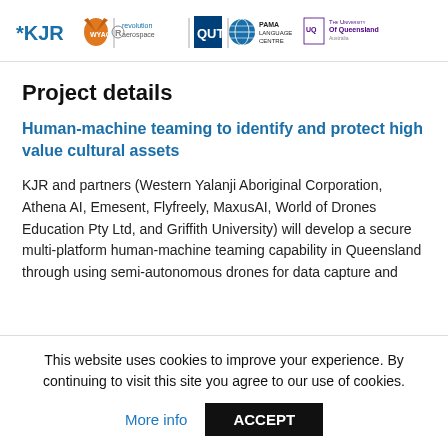[Figure (logo): Header bar with logos: KJR, WYAC (orange fox icon), revolution aerospace, QUT (blue square), PAMA Language Centre (globe icon), The University of Queensland]
Project details
Human-machine teaming to identify and protect high value cultural assets
KJR and partners (Western Yalanji Aboriginal Corporation, Athena AI, Emesent, Flyfreely, MaxusAI, World of Drones Education Pty Ltd, and Griffith University) will develop a secure multi-platform human-machine teaming capability in Queensland through using semi-autonomous drones for data capture and
This website uses cookies to improve your experience. By continuing to visit this site you agree to our use of cookies.
More info
ACCEPT